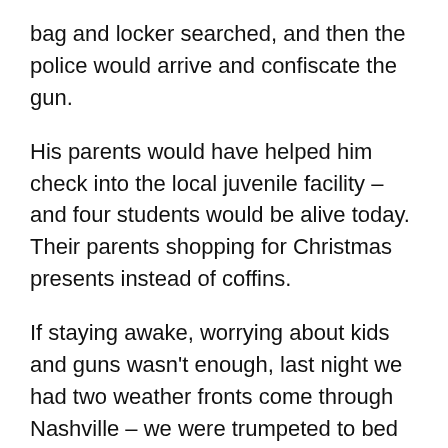bag and locker searched, and then the police would arrive and confiscate the gun.
His parents would have helped him check into the local juvenile facility – and four students would be alive today. Their parents shopping for Christmas presents instead of coffins.
If staying awake, worrying about kids and guns wasn't enough, last night we had two weather fronts come through Nashville – we were trumpeted to bed with thunder, and the lightening was blinding. Bob got on his iPad and checked the radar, “Oh, this will be over in 10 minutes,” he said. Mind you, he knew I had a dream the night before about a tornado, but so far we were only under a tornado “watch.” Which means the wind and temperature conditions are ready and waiting to start